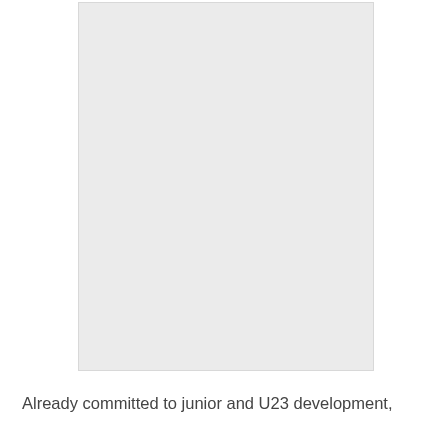[Figure (photo): A large light gray rectangular placeholder image occupying most of the upper portion of the page.]
Already committed to junior and U23 development,